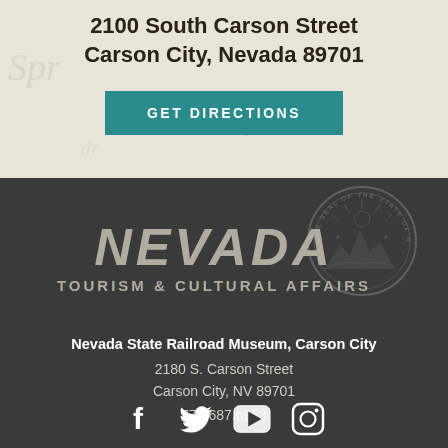2100 South Carson Street
Carson City, Nevada 89701
GET DIRECTIONS
[Figure (logo): Nevada Tourism & Cultural Affairs logo with Nevada state seal]
Nevada State Railroad Museum, Carson City
2180 S. Carson Street
Carson City, NV 89701
775.687.6953
[Figure (infographic): Social media icons: Facebook, Twitter, YouTube, Instagram]